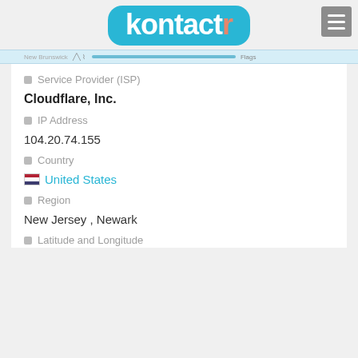[Figure (logo): Kontactr logo with teal bubble background and orange 'r']
[Figure (screenshot): Partial map bar showing New Brunswick location]
□ Service Provider (ISP)
Cloudflare, Inc.
□ IP Address
104.20.74.155
□ Country
Flag for United States  United States
□ Region
New Jersey , Newark
□ Latitude and Longitude